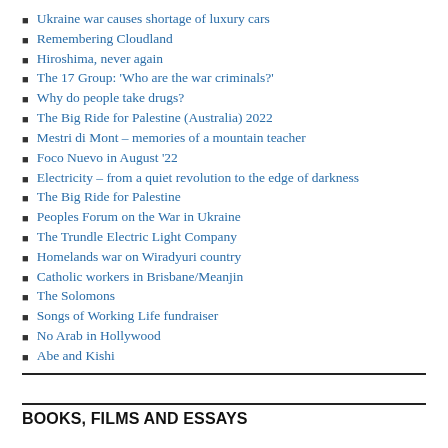Ukraine war causes shortage of luxury cars
Remembering Cloudland
Hiroshima, never again
The 17 Group: 'Who are the war criminals?'
Why do people take drugs?
The Big Ride for Palestine (Australia) 2022
Mestri di Mont – memories of a mountain teacher
Foco Nuevo in August '22
Electricity – from a quiet revolution to the edge of darkness
The Big Ride for Palestine
Peoples Forum on the War in Ukraine
The Trundle Electric Light Company
Homelands war on Wiradyuri country
Catholic workers in Brisbane/Meanjin
The Solomons
Songs of Working Life fundraiser
No Arab in Hollywood
Abe and Kishi
BOOKS, FILMS AND ESSAYS